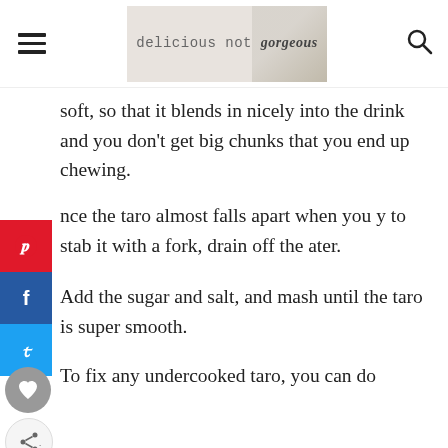delicious not gorgeous
soft, so that it blends in nicely into the drink and you don't get big chunks that you end up chewing.
nce the taro almost falls apart when you y to stab it with a fork, drain off the ater.
Add the sugar and salt, and mash until the taro is super smooth.
To fix any undercooked taro, you can do